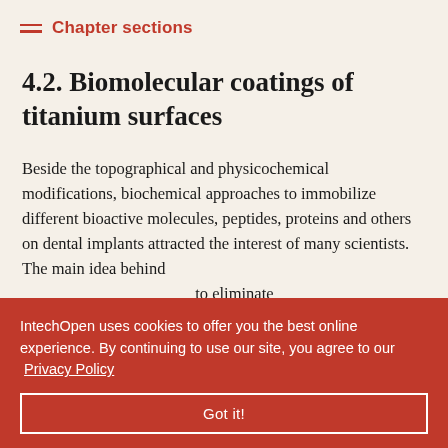Chapter sections
4.2. Biomolecular coatings of titanium surfaces
Beside the topographical and physicochemical modifications, biochemical approaches to immobilize different bioactive molecules, peptides, proteins and others on dental implants attracted the interest of many scientists. The main idea behind [partially obscured] to eliminate [partially obscured] esult in the [partially obscured] ibrous [partially obscured] attachment [partially obscured] t of a tight [partially obscured] integrin- [partially obscured]
IntechOpen uses cookies to offer you the best online experience. By continuing to use our site, you agree to our Privacy Policy
Got it!